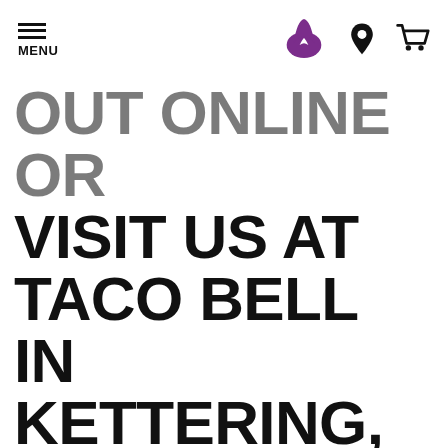MENU | Taco Bell Logo | Location Icon | Cart Icon
OUT ONLINE OR VISIT US AT TACO BELL IN KETTERING, OH
Take Out at Taco Bell® 2101 East Dorothy Lane
Are you on the hunt for the